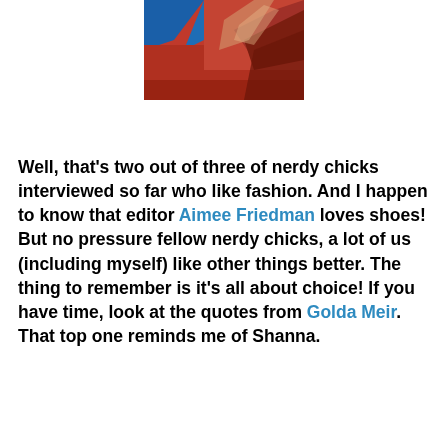[Figure (photo): A partial photo with a predominantly red and blue painted or textured surface, appearing to be an abstract or close-up image.]
Well, that’s two out of three of nerdy chicks interviewed so far who like fashion. And I happen to know that editor Aimee Friedman loves shoes!  But no pressure fellow nerdy chicks, a lot of us (including myself) like other things better. The thing to remember is it’s all about choice!  If you have time, look at the quotes from Golda Meir. That top one reminds me of Shanna.